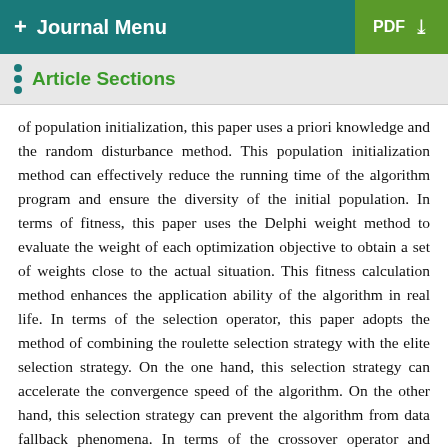+ Journal Menu   PDF ↓
Article Sections
of population initialization, this paper uses a priori knowledge and the random disturbance method. This population initialization method can effectively reduce the running time of the algorithm program and ensure the diversity of the initial population. In terms of fitness, this paper uses the Delphi weight method to evaluate the weight of each optimization objective to obtain a set of weights close to the actual situation. This fitness calculation method enhances the application ability of the algorithm in real life. In terms of the selection operator, this paper adopts the method of combining the roulette selection strategy with the elite selection strategy. On the one hand, this selection strategy can accelerate the convergence speed of the algorithm. On the other hand, this selection strategy can prevent the algorithm from data fallback phenomena. In terms of the crossover operator and mutation operator, an adaptive crossover operator and adaptive mutation operator are proposed in this paper. These two adaptive operators can not only protect high-quality individuals, we also the convergence rate of the